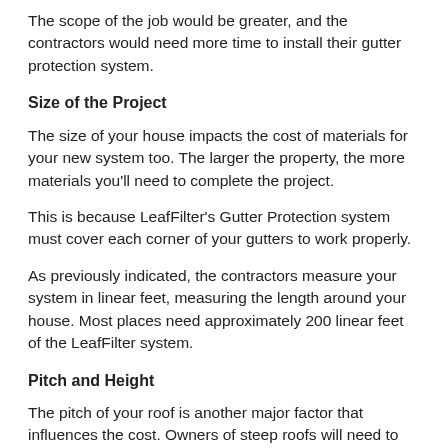The scope of the job would be greater, and the contractors would need more time to install their gutter protection system.
Size of the Project
The size of your house impacts the cost of materials for your new system too. The larger the property, the more materials you'll need to complete the project.
This is because LeafFilter's Gutter Protection system must cover each corner of your gutters to work properly.
As previously indicated, the contractors measure your system in linear feet, measuring the length around your house. Most places need approximately 200 linear feet of the LeafFilter system.
Pitch and Height
The pitch of your roof is another major factor that influences the cost. Owners of steep roofs will need to shell out more money than families with a more moderate slope. The job is more difficult due to a precarious position, making it more dangerous.